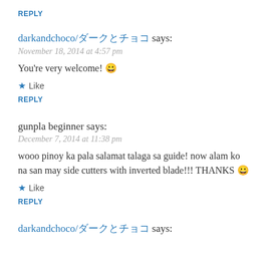REPLY
darkandchoco/ダークとチョコ says:
November 18, 2014 at 4:57 pm
You're very welcome! 😀
★ Like
REPLY
gunpla beginner says:
December 7, 2014 at 11:38 pm
wooo pinoy ka pala salamat talaga sa guide! now alam ko na san may side cutters with inverted blade!!! THANKS 😀
★ Like
REPLY
darkandchoco/ダークとチョコ says: